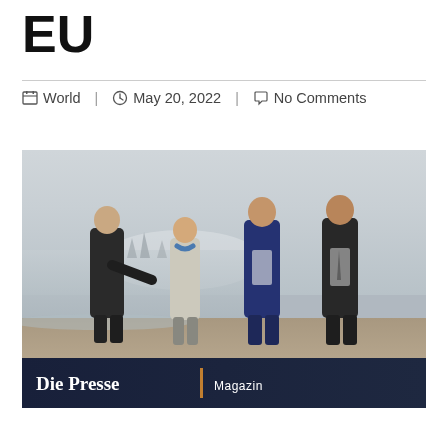EU
World  |  May 20, 2022  |  No Comments
[Figure (photo): Four politicians walking on a beach. From left: a man in dark suit gesturing with arm extended, a woman in light grey jacket with blue scarf, a man in navy suit, and a man in dark suit. Sailboats visible in the water background. Die Presse Magazin banner at bottom of image.]